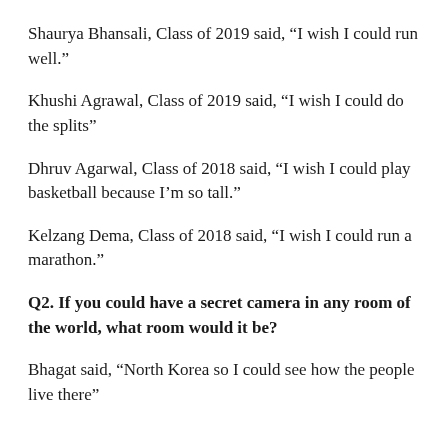Shaurya Bhansali, Class of 2019 said, “I wish I could run well.”
Khushi Agrawal, Class of 2019 said, “I wish I could do the splits”
Dhruv Agarwal, Class of 2018 said, “I wish I could play basketball because I’m so tall.”
Kelzang Dema, Class of 2018 said, “I wish I could run a marathon.”
Q2. If you could have a secret camera in any room of the world, what room would it be?
Bhagat said, “North Korea so I could see how the people live there”